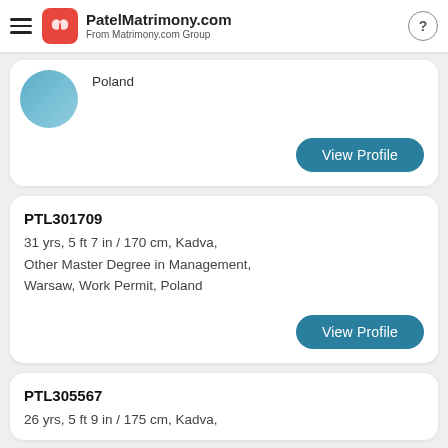PatelMatrimony.com — From Matrimony.com Group
Poland
View Profile
PTL301709
31 yrs, 5 ft 7 in / 170 cm, Kadva,
Other Master Degree in Management,
Warsaw, Work Permit, Poland
View Profile
PTL305567
26 yrs, 5 ft 9 in / 175 cm, Kadva,